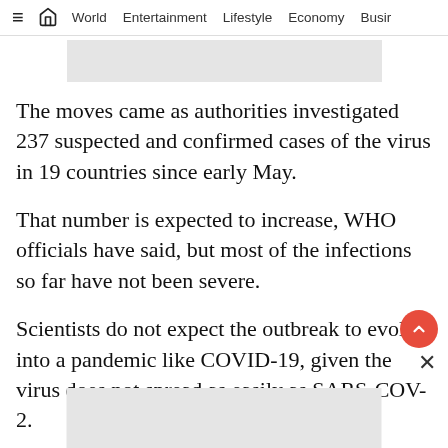≡ 🏠 World   Entertainment   Lifestyle   Economy   Busir
[Figure (other): Top advertisement placeholder, light gray rectangle]
The moves came as authorities investigated 237 suspected and confirmed cases of the virus in 19 countries since early May.
That number is expected to increase, WHO officials have said, but most of the infections so far have not been severe.
Scientists do not expect the outbreak to evolve into a pandemic like COVID-19, given the virus does not spread as easily as SARS-COV-2.
[Figure (other): Bottom advertisement placeholder, light gray rectangle]